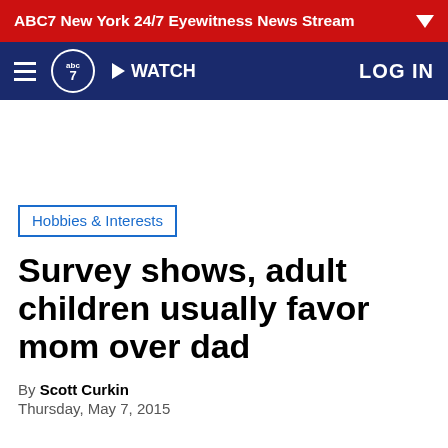ABC7 New York 24/7 Eyewitness News Stream
[Figure (logo): ABC7 News navigation bar with hamburger menu, ABC7 logo, WATCH button, and LOG IN link on navy blue background]
Hobbies & Interests
Survey shows, adult children usually favor mom over dad
By Scott Curkin
Thursday, May 7, 2015